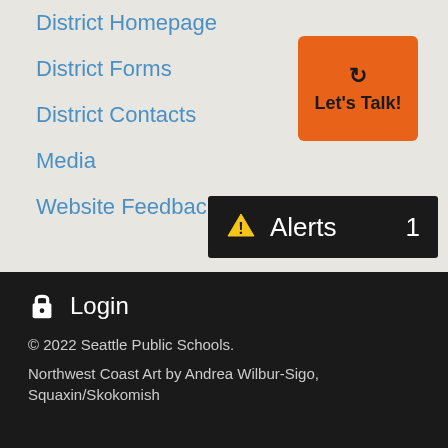District Homepage
District Forms
District Contacts
Media
Website Feedback
[Figure (other): Orange 'Let's Talk!' button with circular arrows icon]
[Figure (other): Black alerts bar with yellow warning triangle, text 'Alerts' and count '1']
Login
© 2022 Seattle Public Schools.
Northwest Coast Art by Andrea Wilbur-Sigo, Squaxin/Skokomish